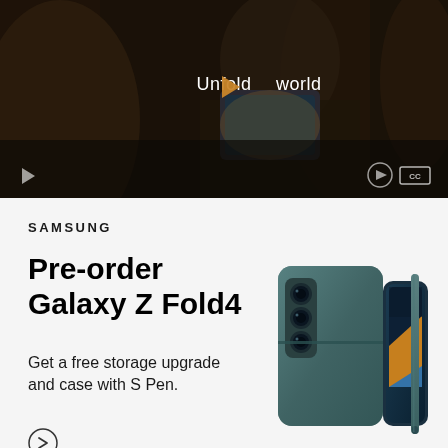[Figure (screenshot): Samsung video player showing a woman holding a Galaxy Z Fold4 phone in a car setting with 'Unfold your world' text overlay and play button controls]
SAMSUNG
Pre-order Galaxy Z Fold4
Get a free storage upgrade and case with S Pen.
[Figure (photo): Samsung Galaxy Z Fold4 phone in teal/grey color shown from the back and side, with S Pen]